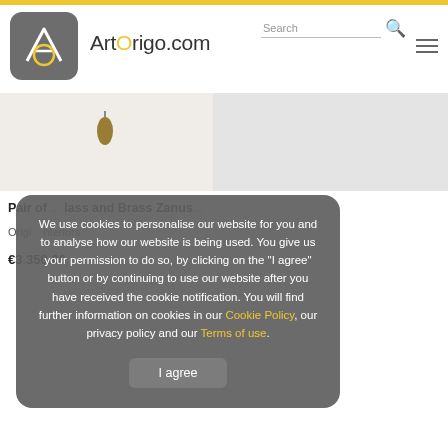ArtOrigo.com
[Figure (screenshot): ArtOrigo website header with logo, site name, search bar, and hamburger menu]
[Figure (photo): Product images: decorative pendant lamp and artwork on white background]
Pair of ... Glass and Brass Zanus...
Originally ...Interiors
€3,350.00
We use cookies to personalise our website for you and to analyse how our website is being used. You give us your permission to do so, by clicking on the "I agree" button or by continuing to use our website after you have received the cookie notification. You will find further information on cookies in our Cookie Policy, our privacy policy and our Terms of use.
I agree